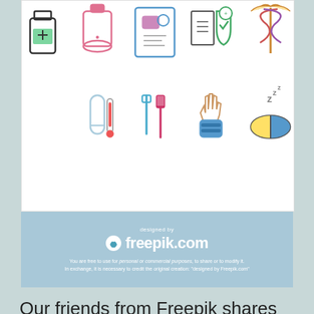[Figure (illustration): Two rows of medical/health outline icons on white background: medicine bottle, pink wash bottle, medical app screen, health insurance shield, caduceus symbol, condom, toothbrush/tools, wrapped hand, sleeping pill capsule with Zzz]
[Figure (logo): Freepik.com logo banner on light blue background with 'designed by' text above and license text below]
Our friends from Freepik shares today on Designbeep with all our readers a complete pack that includes an amazing variety of free